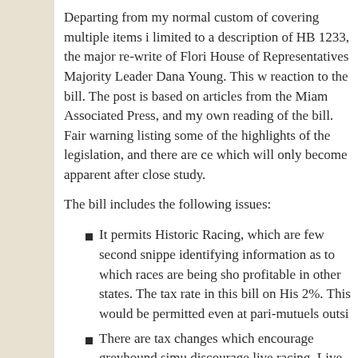Departing from my normal custom of covering multiple items limited to a description of HB 1233, the major re-write of Flori House of Representatives Majority Leader Dana Young. This w reaction to the bill. The post is based on articles from the Miam Associated Press, and my own reading of the bill. Fair warning listing some of the highlights of the legislation, and there are c which will only become apparent after close study.
The bill includes the following issues:
It permits Historic Racing, which are few second snippe identifying information as to which races are being sho profitable in other states. The tax rate in this bill on His 2%. This would be permitted even at pari-mutuels outsi
There are tax changes which encourage greyhound simu discourage live racing. Live greyhound racing will no l cardrooms or slot machines.
There is extensive language pertaining to medication of
There are requirements for reporting of racing greyhoun